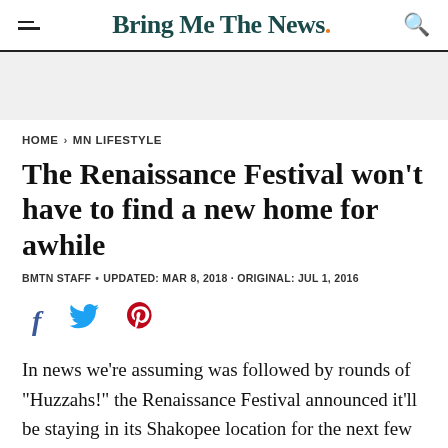Bring Me The News.
HOME > MN LIFESTYLE
The Renaissance Festival won't have to find a new home for awhile
BMTN STAFF • UPDATED: MAR 8, 2018 · ORIGINAL: JUL 1, 2016
[Figure (other): Social sharing icons: Facebook, Twitter, Pinterest]
In news we're assuming was followed by rounds of "Huzzahs!" the Renaissance Festival announced it'll be staying in its Shakopee location for the next few years.